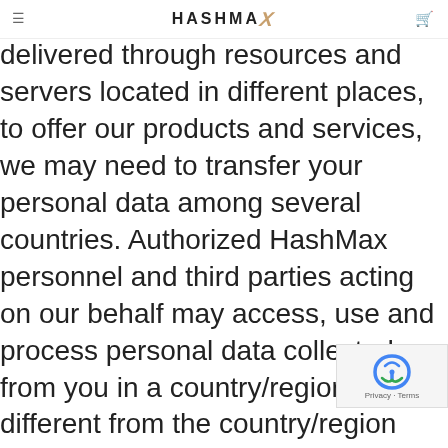HASHMAX
Our products and services are delivered through resources and servers located in different places, to offer our products and services, we may need to transfer your personal data among several countries. Authorized HashMax personnel and third parties acting on our behalf may access, use and process personal data collected from you in a country/region that is different from the country/region where you entered the personal data, which may have less stringent data protection laws. When we transfer your personal data to other countries/regions, we will protect that personal data as described in this Policy or